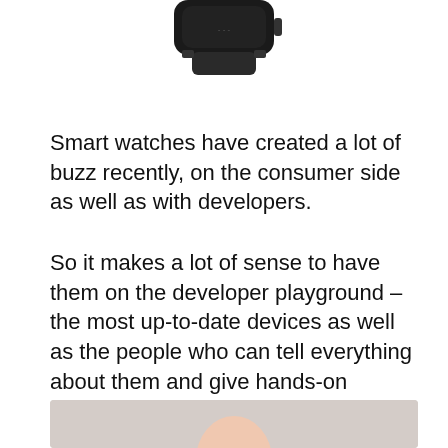[Figure (photo): Partial view of a black smartwatch at the top of the page, showing the bottom portion of the device with a band.]
Smart watches have created a lot of buzz recently, on the consumer side as well as with developers.
So it makes a lot of sense to have them on the developer playground – the most up-to-date devices as well as the people who can tell everything about them and give hands-on instructions.
[Figure (photo): Partial view of a person (head/face area) at the bottom of the page, with a light gray background.]